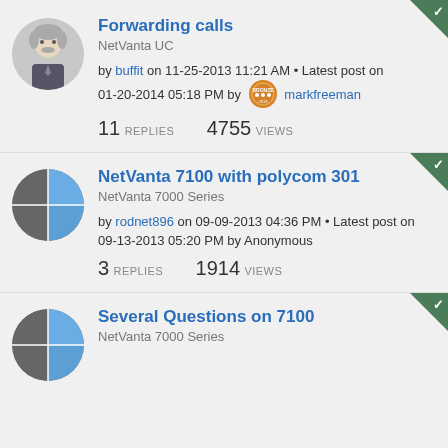Forwarding calls | NetVanta UC | by buffit on 11-25-2013 11:21 AM • Latest post on 01-20-2014 05:18 PM by markfreeman | 11 REPLIES 4755 VIEWS
NetVanta 7100 with polycom 301 | NetVanta 7000 Series | by rodnet896 on 09-09-2013 04:36 PM • Latest post on 09-13-2013 05:20 PM by Anonymous | 3 REPLIES 1914 VIEWS
Several Questions on 7100 | NetVanta 7000 Series